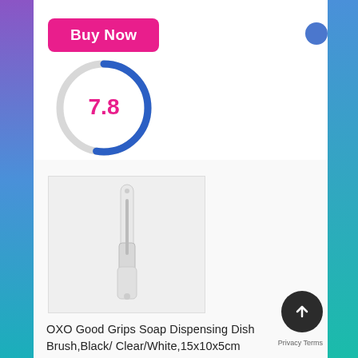[Figure (other): Pink 'Buy Now' button with score circle showing 7.8 in pink, partially filled blue/gray arc indicator]
[Figure (photo): OXO Good Grips Soap Dispensing Dish Brush product image on light background]
OXO Good Grips Soap Dispensing Dish Brush,Black/Clear/White,15x10x5cm